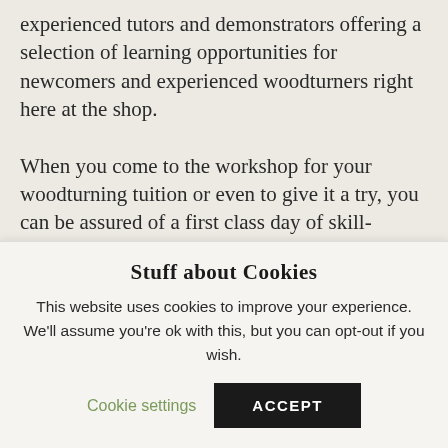experienced tutors and demonstrators offering a selection of learning opportunities for newcomers and experienced woodturners right here at the shop.

When you come to the workshop for your woodturning tuition or even to give it a try, you can be assured of a first class day of skill-learning recommended by Axminster Tools in an informal atmosphere with energetic, knowledgeable and patient tutors.
Stuff about Cookies
This website uses cookies to improve your experience. We'll assume you're ok with this, but you can opt-out if you wish.
Cookie settings | ACCEPT